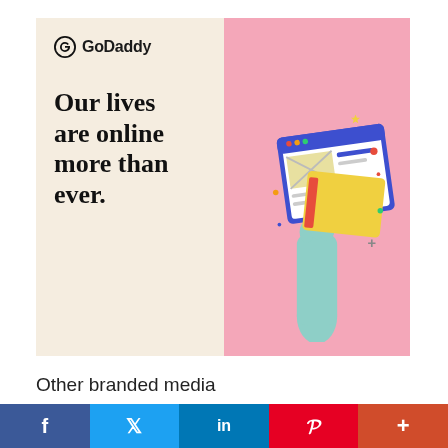[Figure (illustration): GoDaddy advertisement split into two halves: left cream/beige background with GoDaddy logo and bold headline 'Our lives are online more than ever.'; right pink background with 3D illustration of a mint-green hand holding a web browser/website mockup with yellow and blue UI elements.]
Other branded media and marketplace locations with planned spin off plans
LocalzzAds.com
LocalzzBusinesses.com
f  𝕏  in  𝐏  +